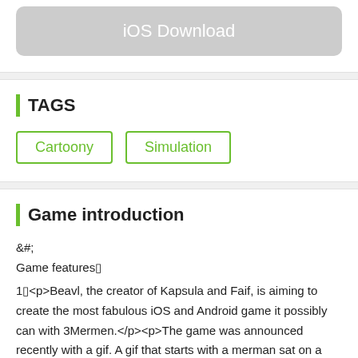[Figure (other): iOS Download button (rounded rectangle, gray background, white text)]
TAGS
Cartoony
Simulation
Game introduction
&#;🔷
Game features🔷
1🔷<p>Beavl, the creator of Kapsula and Faif, is aiming to create the most fabulous iOS and Android game it possibly can with 3Mermen.</p><p>The game was announced recently with a gif. A gif that starts with a merman sat on a rock at sea, golden hair and